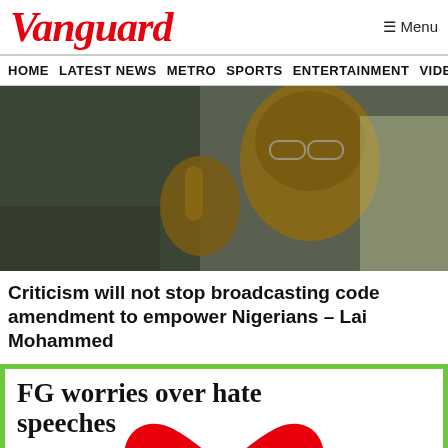Vanguard
HOME  LATEST NEWS  METRO  SPORTS  ENTERTAINMENT  VIDEOS
[Figure (photo): Close-up photo of Lai Mohammed, a Nigerian politician, gesturing with his hand while speaking]
Criticism will not stop broadcasting code amendment to empower Nigerians – Lai Mohammed
[Figure (infographic): Green-bordered infographic with white background showing text 'FG worries over hate speeches' with a red heart shape and 'ALL YOU NEED IS LOVE' text overlay]